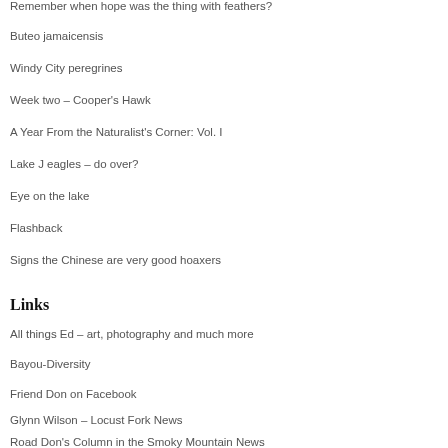Remember when hope was the thing with feathers?
Buteo jamaicensis
Windy City peregrines
Week two – Cooper's Hawk
A Year From the Naturalist's Corner: Vol. I
Lake J eagles – do over?
Eye on the lake
Flashback
Signs the Chinese are very good hoaxers
Links
All things Ed – art, photography and much more
Bayou-Diversity
Friend Don on Facebook
Glynn Wilson – Locust Fork News
Road Don's Column in the Smoky Mountain News